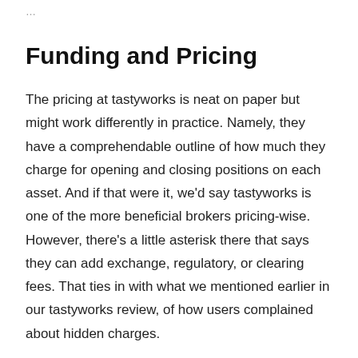...
Funding and Pricing
The pricing at tastyworks is neat on paper but might work differently in practice. Namely, they have a comprehendable outline of how much they charge for opening and closing positions on each asset. And if that were it, we'd say tastyworks is one of the more beneficial brokers pricing-wise. However, there's a little asterisk there that says they can add exchange, regulatory, or clearing fees. That ties in with what we mentioned earlier in our tastyworks review, of how users complained about hidden charges.
It may be that the damaged users just didn't read the fine